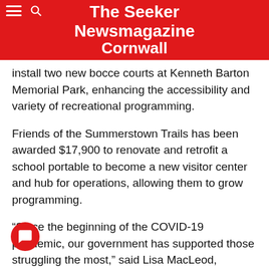The Seeker Newsmagazine Cornwall
install two new bocce courts at Kenneth Barton Memorial Park, enhancing the accessibility and variety of recreational programming.
Friends of the Summerstown Trails has been awarded $17,900 to renovate and retrofit a school portable to become a new visitor center and hub for operations, allowing them to grow programming.
“Since the beginning of the COVID-19 pandemic, our government has supported those struggling the most,” said Lisa MacLeod, Minister of Heritage, Sport, Tourism and Culture Industries. “These capital grants will help municipalities, Indigenous communities and non-profit organizations make repairs or upgrades needed to their sport and recreation facilities to adapt to the concerns of the pandemic, the communities...